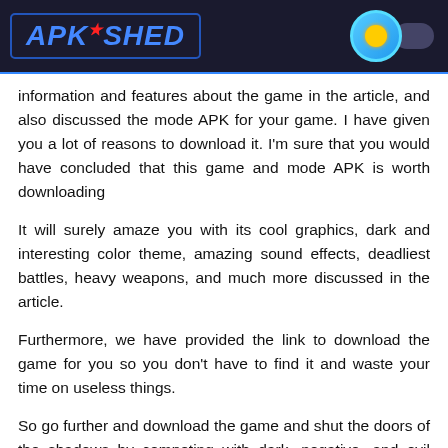APK SHED
information and features about the game in the article, and also discussed the mode APK for your game. I have given you a lot of reasons to download it. I'm sure that you would have concluded that this game and mode APK is worth downloading
It will surely amaze you with its cool graphics, dark and interesting color theme, amazing sound effects, deadliest battles, heavy weapons, and much more discussed in the article.
Furthermore, we have provided the link to download the game for you so you don't have to find it and waste your time on useless things.
So go further and download the game and shut the doors of the shadows by competing with dark, negative, and evil villains. You will be fighting a war with your companions with different